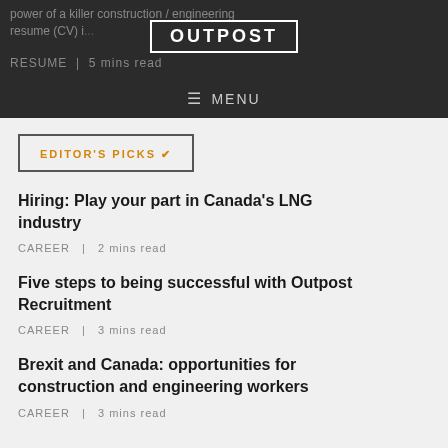power of a killer construction / engineering resume (CV) i...
RESUME | 5 mins read
OUTPOST
MENU
EDITOR'S PICKS ✓
Hiring: Play your part in Canada's LNG industry
CAREER | 2 mins read
Five steps to being successful with Outpost Recruitment
CAREER | 3 mins read
Brexit and Canada: opportunities for construction and engineering workers
CAREER | 3 mins read